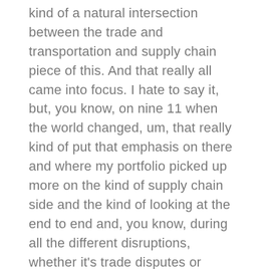kind of a natural intersection between the trade and transportation and supply chain piece of this. And that really all came into focus. I hate to say it, but, you know, on nine 11 when the world changed, um, that really kind of put that emphasis on there and where my portfolio picked up more on the kind of supply chain side and the kind of looking at the end to end and, you know, during all the different disruptions, whether it's trade disputes or COVID, uh, you know, everything impacts the movement of goods.